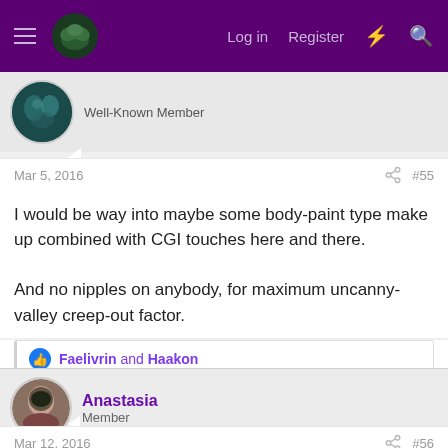Log in  Register
Well-Known Member
Mar 5, 2016  #55
I would be way into maybe some body-paint type make up combined with CGI touches here and there.

And no nipples on anybody, for maximum uncanny-valley creep-out factor.
Faelivrin and Haakon
Anastasia
Member
Mar 12, 2016  #56
Hello everyone,
I really like all of the points that have been made so far! I have